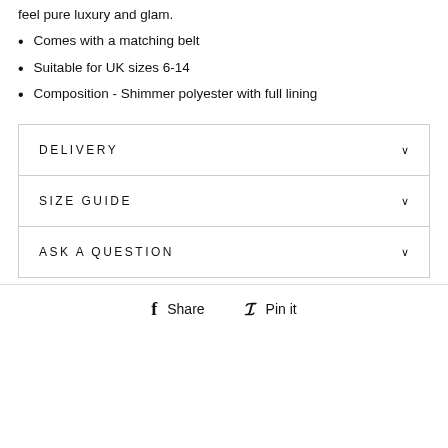feel pure luxury and glam.
Comes with a matching belt
Suitable for UK sizes 6-14
Composition - Shimmer polyester with full lining
DELIVERY
SIZE GUIDE
ASK A QUESTION
Share  Pin it